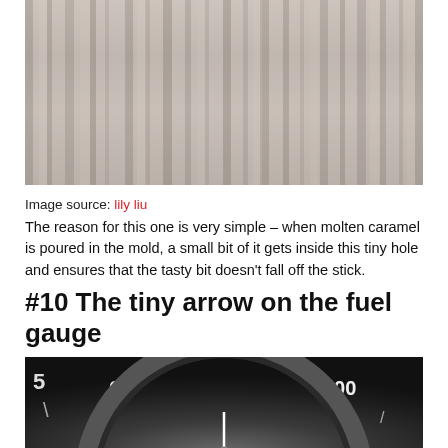[Figure (photo): Close-up photo of light-colored fabric or curtain folds with vertical ridges and shadows in beige/taupe tones]
Image source: lily liu
The reason for this one is very simple – when molten caramel is poured in the mold, a small bit of it gets inside this tiny hole and ensures that the tasty bit doesn't fall off the stick.
#10 The tiny arrow on the fuel gauge
[Figure (photo): Close-up photo of a car dashboard fuel gauge showing numbers 60 and 100, with a dark circular dial and white needle indicator]